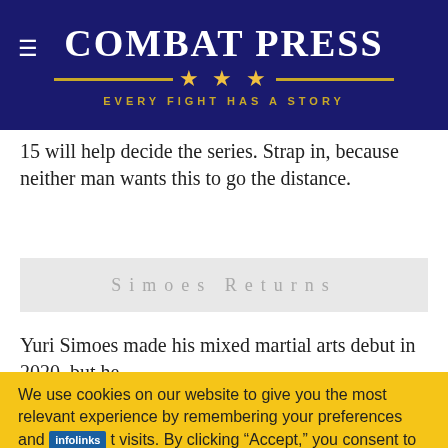Combat Press — Every Fight Has A Story
15 will help decide the series. Strap in, because neither man wants this to go the distance.
Simoes Returns
Yuri Simoes made his mixed martial arts debut in 2020, but he
We use cookies on our website to give you the most relevant experience by remembering your preferences and repeat visits. By clicking “Accept,” you consent to the use of